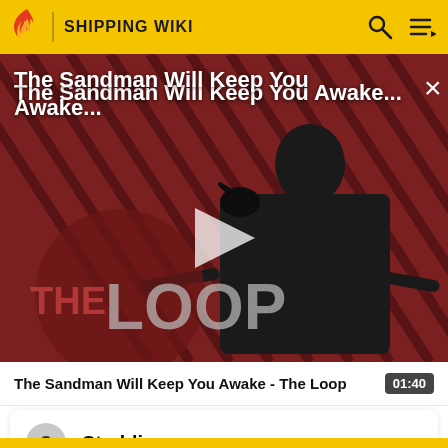SHIPPING WIKI
[Figure (screenshot): Video thumbnail showing The Sandman character in black costume against red and black diagonal stripe background with THE LOOP logo overlay and play button]
The Sandman Will Keep You Awake...
The Sandman Will Keep You Awake - The Loop  01:40
3  Steddie